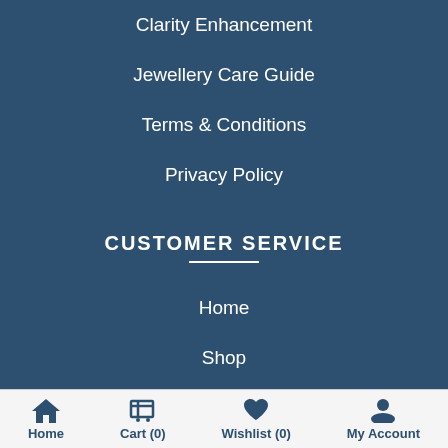Clarity Enhancement
Jewellery Care Guide
Terms & Conditions
Privacy Policy
CUSTOMER SERVICE
Home
Shop
Checkout
Home  Cart (0)  Wishlist (0)  My Account